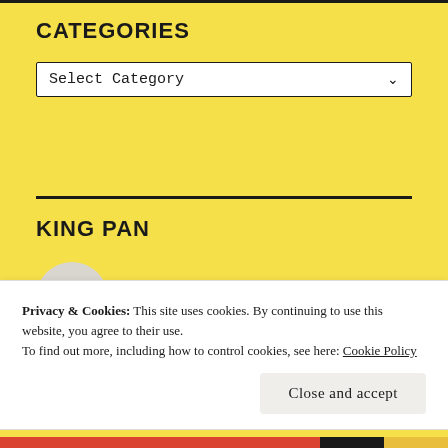CATEGORIES
[Figure (screenshot): A dropdown select input with label 'Select Category' and a chevron arrow on the right]
KING PAN
[Figure (illustration): A circular avatar with a small dark square/icon inside labeled 'King', next to the bold orange text 'Babl']
Privacy & Cookies: This site uses cookies. By continuing to use this website, you agree to their use.
To find out more, including how to control cookies, see here: Cookie Policy
Close and accept